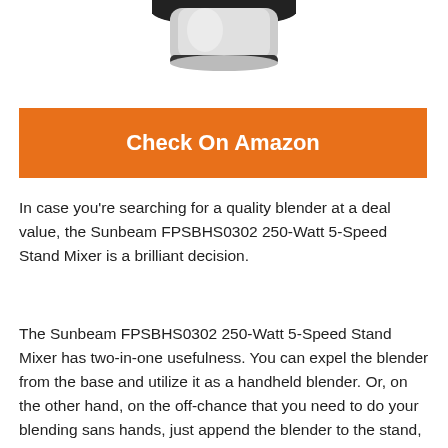[Figure (photo): Partial top view of a Sunbeam stand mixer product image, showing the upper portion of the appliance in black and silver against white background.]
Check On Amazon
In case you're searching for a quality blender at a deal value, the Sunbeam FPSBHS0302 250-Watt 5-Speed Stand Mixer is a brilliant decision.
The Sunbeam FPSBHS0302 250-Watt 5-Speed Stand Mixer has two-in-one usefulness. You can expel the blender from the base and utilize it as a handheld blender. Or, on the other hand, on the off-chance that you need to do your blending sans hands, just append the blender to the stand, and it turns into a